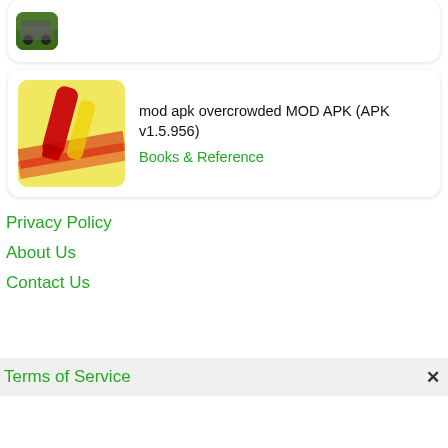[Figure (screenshot): Partial app card at top showing a game screenshot thumbnail (outdoor scene with vehicle) on a white card]
[Figure (screenshot): App icon for mod apk overcrowded: red pencil/marker on yellow background]
mod apk overcrowded MOD APK (APK v1.5.956)
Books & Reference
Privacy Policy
About Us
Contact Us
Terms of Service